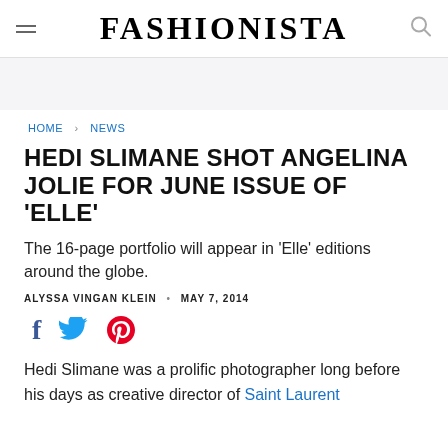FASHIONISTA
HOME > NEWS
HEDI SLIMANE SHOT ANGELINA JOLIE FOR JUNE ISSUE OF 'ELLE'
The 16-page portfolio will appear in 'Elle' editions around the globe.
ALYSSA VINGAN KLEIN • MAY 7, 2014
[Figure (other): Social sharing icons: Facebook (f), Twitter (bird), Pinterest (P)]
Hedi Slimane was a prolific photographer long before his days as creative director of Saint Laurent